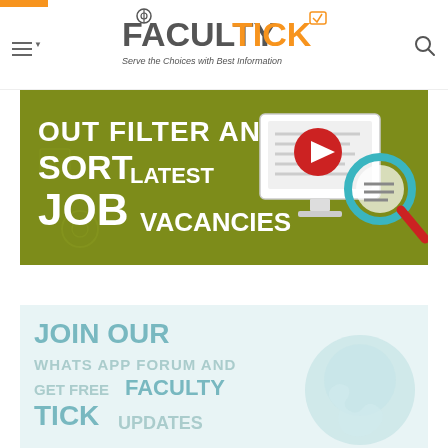[Figure (logo): Faculty Tick logo with pen nib icon, orange and grey text, subtitle: Serve the Choices with Best Information]
[Figure (infographic): Dark olive/green banner reading 'OUT FILTER AND SORT LATEST JOB VACANCIES' with illustrated computer and magnifying glass graphic]
[Figure (infographic): Light blue-teal banner reading 'JOIN OUR WHATS APP FORUM AND GET FREE FACULTY TICK UPDATES' with WhatsApp icon illustration]